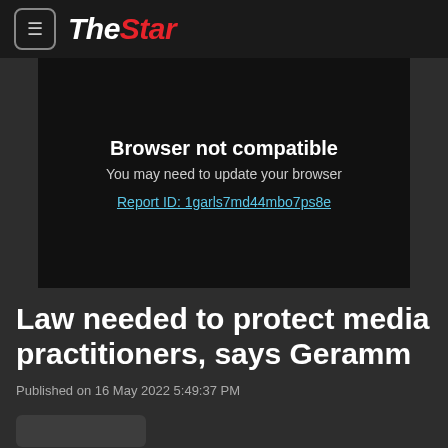The Star
[Figure (screenshot): Browser not compatible error screen: 'Browser not compatible / You may need to update your browser / Report ID: 1garls7md44mbo7ps8e']
Law needed to protect media practitioners, says Geramm
Published on 16 May 2022 5:49:37 PM